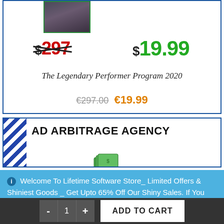[Figure (photo): Person in dark jacket, product photo for Legendary Performer Program 2020]
$297 $19.99
The Legendary Performer Program 2020
€297.00 €19.99
[Figure (illustration): Ad Arbitrage Agency product banner with diagonal blue/white stripes and money/cash icon]
Welcome To Lifetime Software Store_ Limited Offers & Shiniest Goods _ Get Upto 65% Off Our Shiny Sales. If You Want To Pay With Paypal Or Other Payment Method, Please Contact Us.
- 1 + ADD TO CART